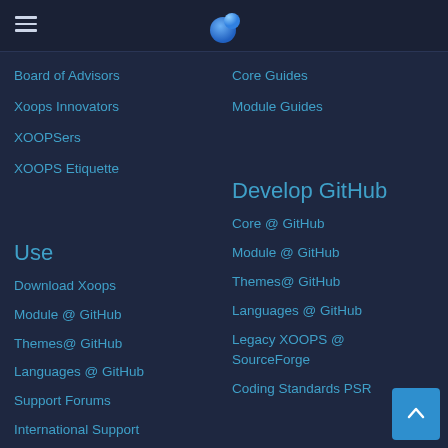XOOPS Navigation Header
Board of Advisors
Xoops Innovators
XOOPSers
XOOPS Etiquette
Core Guides
Module Guides
Use
Download Xoops
Module @ GitHub
Themes@ GitHub
Languages @ GitHub
Support Forums
International Support
Develop GitHub
Core @ GitHub
Module @ GitHub
Themes@ GitHub
Languages @ GitHub
Legacy XOOPS @ SourceForge
Coding Standards PSR